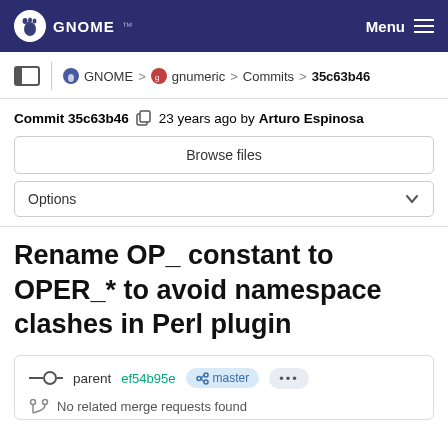GNOME  Menu
GNOME > gnumeric > Commits > 35c63b46
Commit 35c63b46  23 years ago by Arturo Espinosa
Browse files
Options
Rename OP_ constant to OPER_* to avoid namespace clashes in Perl plugin
parent ef54b95e  master  ...
No related merge requests found